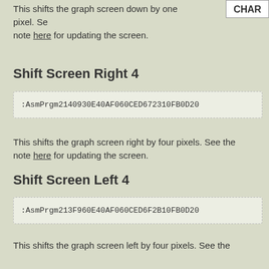This shifts the graph screen down by one pixel. See the note here for updating the screen.
CHAR
Shift Screen Right 4
:AsmPrgm2140930E40AF060CED672310FB0D20...
This shifts the graph screen right by four pixels. See the note here for updating the screen.
Shift Screen Left 4
:AsmPrgm213F960E40AF060CED6F2B10FB0D20...
This shifts the graph screen left by four pixels. See the note here for updating the screen.
Shift Screen Up 4
:AsmPrgm21709311409301D002EDB0EB013000...